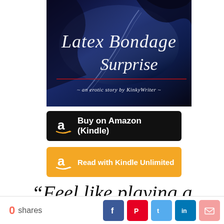[Figure (illustration): Book cover for 'Latex Bondage Surprise – an erotic story by KinkyWriter' with dark blue/black latex background and cursive white title text]
[Figure (other): Black button with Amazon logo and text 'Buy on Amazon (Kindle)']
[Figure (other): Orange button with Amazon logo and text 'Read with Kindle Unlimited']
“Feel like playing a
0 shares